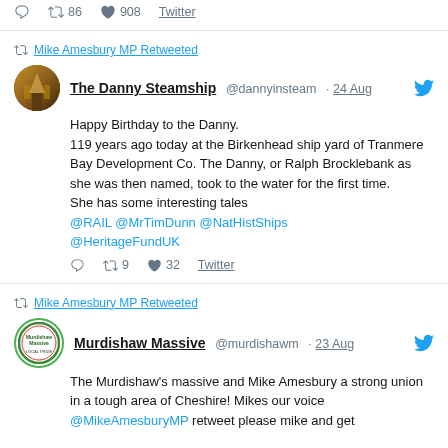86 retweets · 908 likes · Twitter
Mike Amesbury MP Retweeted
The Danny Steamship @dannyinsteam · 24 Aug
Happy Birthday to the Danny.
119 years ago today at the Birkenhead ship yard of Tranmere Bay Development Co. The Danny, or Ralph Brocklebank as she was then named, took to the water for the first time.
She has some interesting tales
@RAIL @MrTimDunn @NatHistShips
@HeritageFundUK
9 retweets · 32 likes · Twitter
Mike Amesbury MP Retweeted
Murdishaw Massive @murdishawm · 23 Aug
The Murdishaw's massive and Mike Amesbury a strong union in a tough area of Cheshire! Mikes our voice @MikeAmesburyMP retweet please mike and get